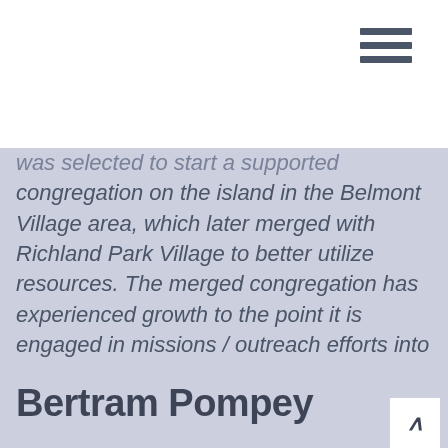[Figure (other): Hamburger menu icon (three horizontal bars) in dark slate color, top right corner]
was selected to start a supported congregation on the island in the Belmont Village area, which later merged with Richland Park Village to better utilize resources. The merged congregation has experienced growth to the point it is engaged in missions / outreach efforts into other villages.
Bertram Pompey